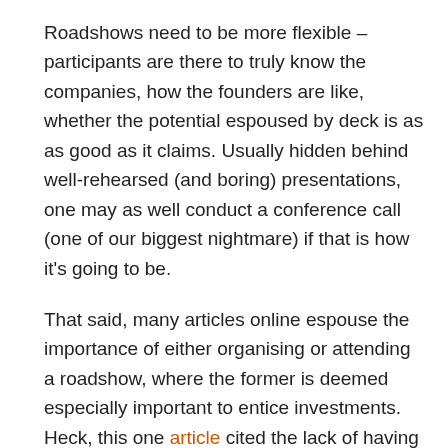Roadshows need to be more flexible – participants are there to truly know the companies, how the founders are like, whether the potential espoused by deck is as as good as it claims. Usually hidden behind well-rehearsed (and boring) presentations, one may as well conduct a conference call (one of our biggest nightmare) if that is how it's going to be.
That said, many articles online espouse the importance of either organising or attending a roadshow, where the former is deemed especially important to entice investments. Heck, this one article cited the lack of having held a roadshow as a reason to not attend a particular company's IPO!
So if you're the one organising the roadshow, consider: are the meetings going nowhere? Give participants some respite by gathering those talented individuals in your company to organise and stage a performance. Throw in a game with a